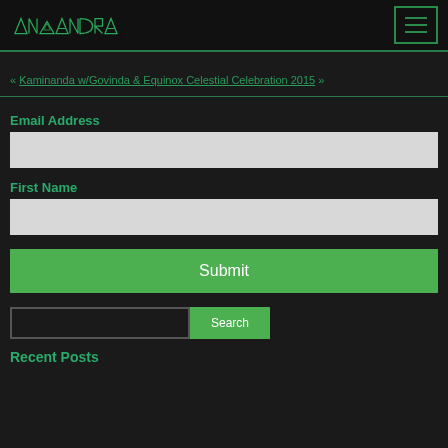[Figure (logo): ANTANDRA logo in green triangle/geometric style text on dark background]
« Kaminanda w/Govinda & Equinox Celestial Celebration 2015 »
Email Address
[Figure (other): Email Address input field (light gray)]
First Name
[Figure (other): First Name input field (light gray)]
[Figure (other): Submit button (green)]
[Figure (other): Search input field and Search button]
Recent Posts